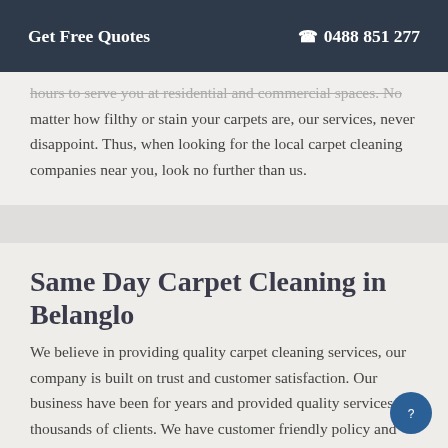Get Free Quotes  ☎ 0488 851 277
hours to serve you at residential and commercial spaces. No matter how filthy or stain your carpets are, our services, never disappoint. Thus, when looking for the local carpet cleaning companies near you, look no further than us.
Same Day Carpet Cleaning in Belanglo
We believe in providing quality carpet cleaning services, our company is built on trust and customer satisfaction. Our business have been for years and provided quality services to thousands of clients. We have customer friendly policy and now we are proud to offer same day carpet cleaning services. If you're